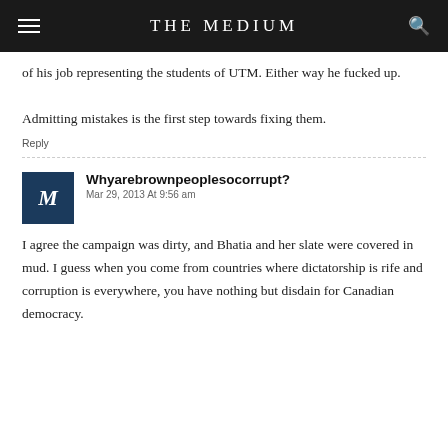THE MEDIUM
of his job representing the students of UTM. Either way he fucked up.

Admitting mistakes is the first step towards fixing them.
Reply
Whyarebrownpeoplesocorrupt?
Mar 29, 2013 At 9:56 am
I agree the campaign was dirty, and Bhatia and her slate were covered in mud. I guess when you come from countries where dictatorship is rife and corruption is everywhere, you have nothing but disdain for Canadian democracy.